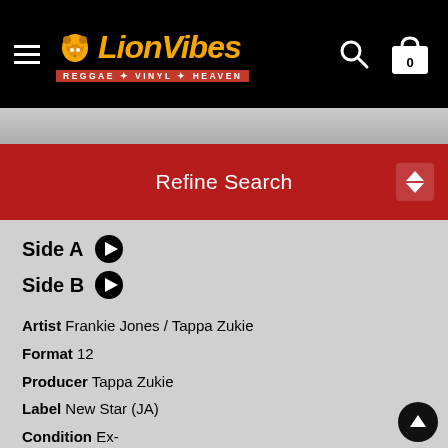LionVibes — REGGAE + VINYL + HEAVEN
Refine Search
Side A ▶
Side B ▶
Artist Frankie Jones / Tappa Zukie
Format 12
Producer Tappa Zukie
Label New Star (JA)
Condition Ex-
£20.00
BUY